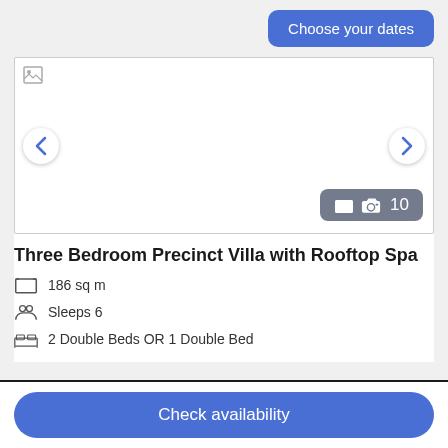Choose your dates
[Figure (photo): Hotel room image carousel with navigation arrows and photo count badge showing 10 photos]
Three Bedroom Precinct Villa with Rooftop Spa
186 sq m
Sleeps 6
2 Double Beds OR 1 Double Bed
Check availability